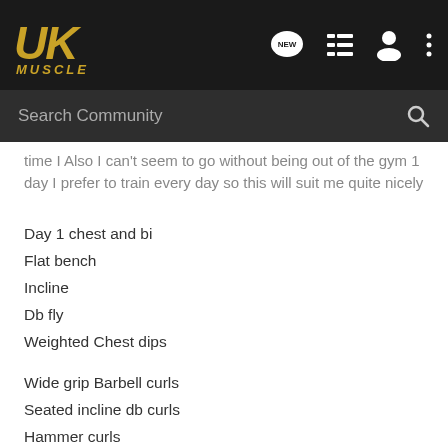[Figure (screenshot): UKMuscle forum website header with logo, navigation icons, and search bar]
time I Also I can't seem to go without being out of the gym 1 day I prefer to train every day so this will suit me quite nicely
Day 1 chest and bi
Flat bench
Incline
Db fly
Weighted Chest dips
Wide grip Barbell curls
Seated incline db curls
Hammer curls
Day 2 quads calves abs